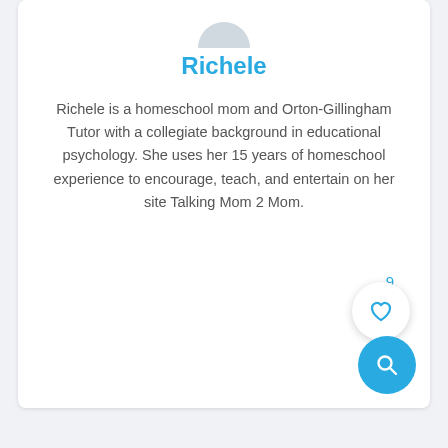Richele
Richele is a homeschool mom and Orton-Gillingham Tutor with a collegiate background in educational psychology. She uses her 15 years of homeschool experience to encourage, teach, and entertain on her site Talking Mom 2 Mom.